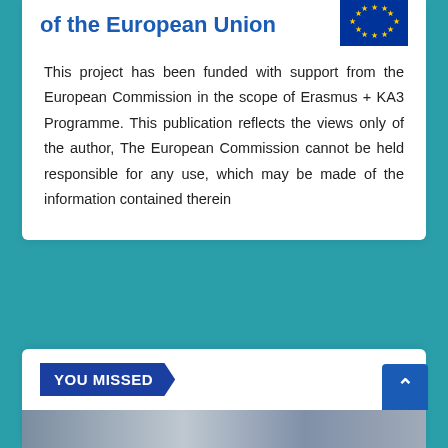of the European Union
[Figure (logo): EU flag with yellow stars on dark blue background]
This project has been funded with support from the European Commission in the scope of Erasmus + KA3 Programme. This publication reflects the views only of the author, The European Commission cannot be held responsible for any use, which may be made of the information contained therein
YOU MISSED
[Figure (photo): Partial photo strip at bottom of page showing people]